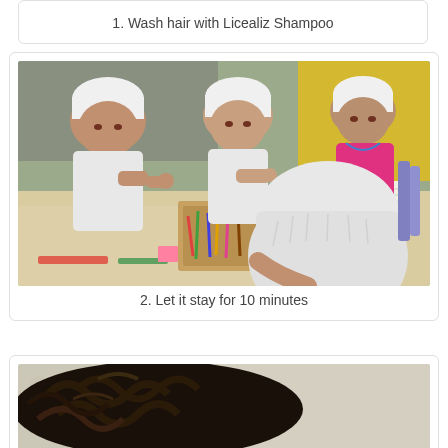1. Wash hair with Licealiz Shampoo
[Figure (photo): Children with white towels wrapped on their heads sitting at a table doing crafts/activities]
2. Let it stay for 10 minutes
[Figure (photo): Close-up of dark curly hair resting on a white towel]